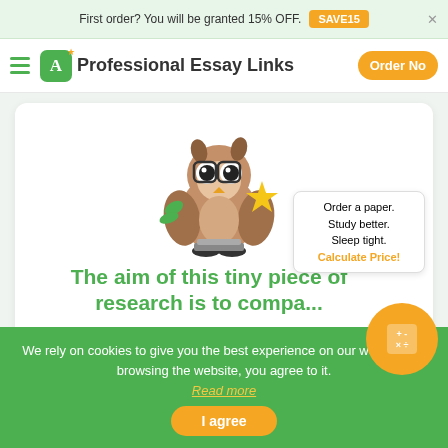First order? You will be granted 15% OFF. SAVE15
Professional Essay Links  Order No
[Figure (illustration): Cartoon owl mascot wearing glasses and holding a gold star]
Order a paper. Study better. Sleep tight. Calculate Price!
The aim of this tiny piece of research is to compa...
Can you help me understand this Political Scie...
We rely on cookies to give you the best experience on our website. By browsing the website, you agree to it. Read more
I agree